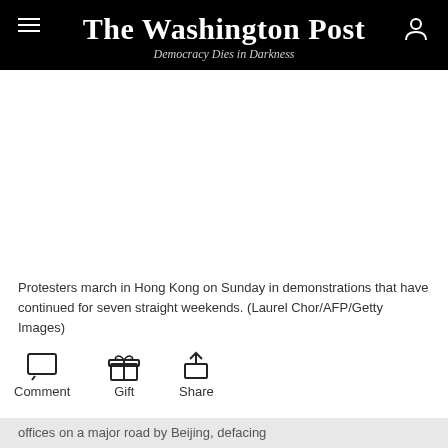The Washington Post — Democracy Dies in Darkness
[Figure (photo): Blank white space where a photo of protesters marching in Hong Kong would appear.]
Protesters march in Hong Kong on Sunday in demonstrations that have continued for seven straight weekends. (Laurel Chor/AFP/Getty Images)
Comment   Gift   Share
HONG KONG — Protesters occupied a significant swath of the city center for hours on Sunday, defacing